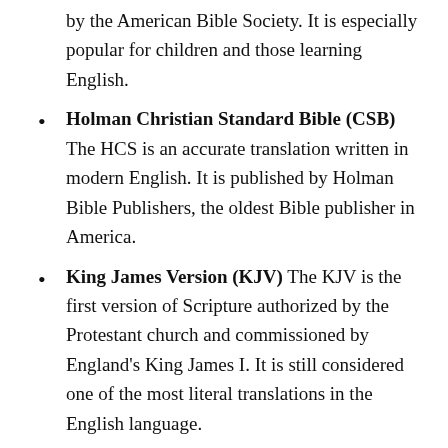by the American Bible Society. It is especially popular for children and those learning English.
Holman Christian Standard Bible (CSB) The HCS is an accurate translation written in modern English. It is published by Holman Bible Publishers, the oldest Bible publisher in America.
King James Version (KJV) The KJV is the first version of Scripture authorized by the Protestant church and commissioned by England's King James I. It is still considered one of the most literal translations in the English language.
English Bible (EEB) The EEB...